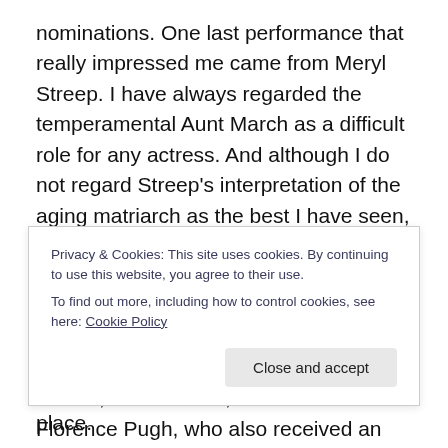nominations. One last performance that really impressed me came from Meryl Streep. I have always regarded the temperamental Aunt March as a difficult role for any actress. And although I do not regard Streep's interpretation of the aging matriarch as the best I have seen, I must admit that for me, she gave one of the best performances in the film. The movie also featured solid performances from the likes of Emma Watson, Laura Dern, Chris Cooper, Tracy Letts, James Norton, Louis Garrel, Bob Odenkirk and Florence Pugh, who also received an Oscar nomination for her performance as the
Privacy & Cookies: This site uses cookies. By continuing to use this website, you agree to their use. To find out more, including how to control cookies, see here: Cookie Policy
Close and accept
received an Oscar nomination in the first place.